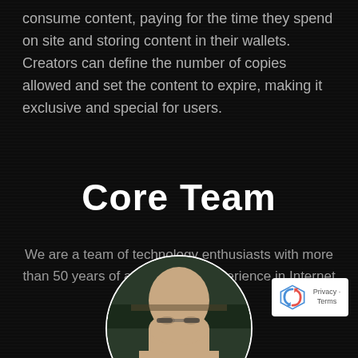consume content, paying for the time they spend on site and storing content in their wallets. Creators can define the number of copies allowed and set the content to expire, making it exclusive and special for users.
Core Team
We are a team of technology enthusiasts with more than 50 years of accumulated experience in Internet solutions:
[Figure (photo): Circular portrait photo of a person wearing glasses, partially visible at the bottom of the page]
[Figure (logo): Google reCAPTCHA badge with Privacy and Terms links]